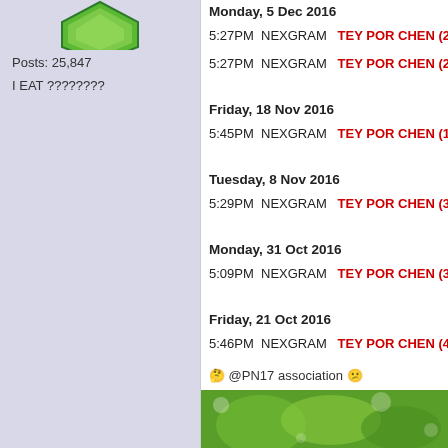[Figure (illustration): Green avatar/icon in left panel]
Posts: 25,847
I EAT ????????
Monday, 5 Dec 2016
5:27PM  NEXGRAM    TEY POR CHEN (2,726,...
5:27PM  NEXGRAM    TEY POR CHEN (20,000...
Friday, 18 Nov 2016
5:45PM  NEXGRAM    TEY POR CHEN (19,500...
Tuesday, 8 Nov 2016
5:29PM  NEXGRAM    TEY POR CHEN (30,000...
Monday, 31 Oct 2016
5:09PM  NEXGRAM    TEY POR CHEN (33,500...
Friday, 21 Oct 2016
5:46PM  NEXGRAM    TEY POR CHEN (4,170,...
🤔 @PN17 association 😕
[Figure (photo): Nature/bokeh photo with green and white tones at the bottom]